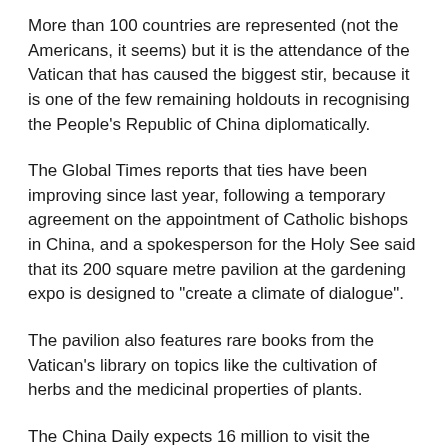More than 100 countries are represented (not the Americans, it seems) but it is the attendance of the Vatican that has caused the biggest stir, because it is one of the few remaining holdouts in recognising the People's Republic of China diplomatically.
The Global Times reports that ties have been improving since last year, following a temporary agreement on the appointment of Catholic bishops in China, and a spokesperson for the Holy See said that its 200 square metre pavilion at the gardening expo is designed to "create a climate of dialogue".
The pavilion also features rare books from the Vatican's library on topics like the cultivation of herbs and the medicinal properties of plants.
The China Daily expects 16 million to visit the exhibition in Beijing over its 162-day run. The event – which the domestic media is describing as 'a classroom for learning Xi Jinping's ecological civilisation' – attracted 35,000 on its opening day on Monday.